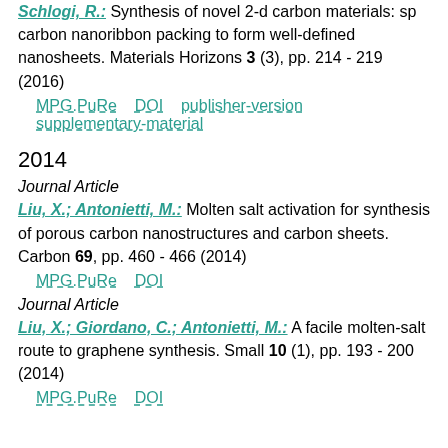Schlogi, R.: Synthesis of novel 2-d carbon materials: sp carbon nanoribbon packing to form well-defined nanosheets. Materials Horizons 3 (3), pp. 214 - 219 (2016)
MPG.PuRe   DOI   publisher-version   supplementary-material
2014
Journal Article
Liu, X.; Antonietti, M.: Molten salt activation for synthesis of porous carbon nanostructures and carbon sheets. Carbon 69, pp. 460 - 466 (2014)
MPG.PuRe   DOI
Journal Article
Liu, X.; Giordano, C.; Antonietti, M.: A facile molten-salt route to graphene synthesis. Small 10 (1), pp. 193 - 200 (2014)
MPG.PuRe   DOI